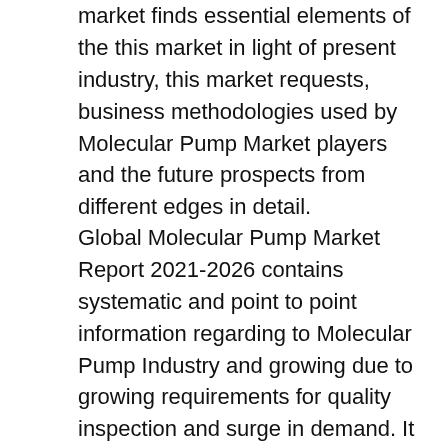market finds essential elements of the this market in light of present industry, this market requests, business methodologies used by Molecular Pump Market players and the future prospects from different edges in detail.
Global Molecular Pump Market Report 2021-2026 contains systematic and point to point information regarding to Molecular Pump Industry and growing due to growing requirements for quality inspection and surge in demand. It also provides pin-point analysis for changing competitive dynamics and provides healthy CAGR during the period 2026 and calculate the market size, Molecular Pump Sales, Price, Revenue, Gross Margin and Market Share, cost